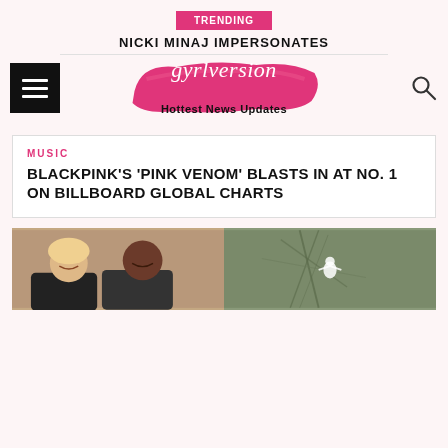TRENDING
NICKI MINAJ IMPERSONATES
[Figure (logo): gyrlversion Hottest News Updates logo on pink brush stroke background]
MUSIC
BLACKPINK'S 'PINK VENOM' BLASTS IN AT NO. 1 ON BILLBOARD GLOBAL CHARTS
[Figure (photo): Two-panel photo: left shows a smiling couple (blonde woman and Black man), right shows an aerial/topographic view with a small white figure]